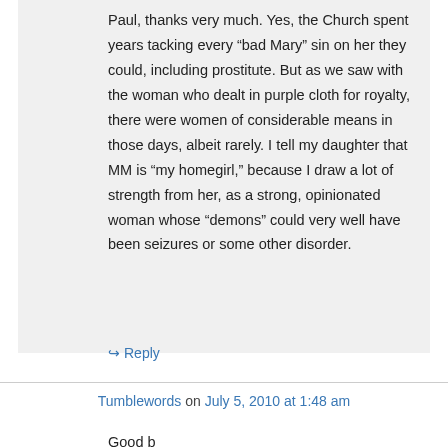Paul, thanks very much. Yes, the Church spent years tacking every “bad Mary” sin on her they could, including prostitute. But as we saw with the woman who dealt in purple cloth for royalty, there were women of considerable means in those days, albeit rarely. I tell my daughter that MM is “my homegirl,” because I draw a lot of strength from her, as a strong, opinionated woman whose “demons” could very well have been seizures or some other disorder.
↪ Reply
Tumblewords on July 5, 2010 at 1:48 am